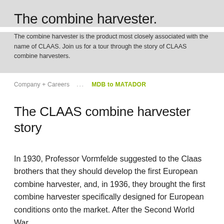The combine harvester.
The combine harvester is the product most closely associated with the name of CLAAS. Join us for a tour through the story of CLAAS combine harvesters.
Company + Careers ... MDB to MATADOR
The CLAAS combine harvester story
In 1930, Professor Vormfelde suggested to the Claas brothers that they should develop the first European combine harvester, and, in 1936, they brought the first combine harvester specifically designed for European conditions onto the market. After the Second World War,